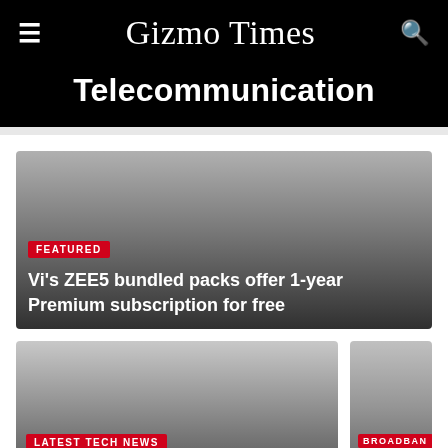Gizmo Times
Telecommunication
[Figure (screenshot): Featured article card with gradient grey background, FEATURED badge, and headline: Vi's ZEE5 bundled packs offer 1-year Premium subscription for free]
Vi's ZEE5 bundled packs offer 1-year Premium subscription for free
[Figure (screenshot): Article card with gradient grey background, LATEST TECH NEWS badge, and headline: Reliance Jio introduces In-Flight Internet and Voice Services for International flights]
Reliance Jio introduces In-Flight Internet and Voice Services for International flights
[Figure (screenshot): Partially visible article card with BROADBAN badge and partial headline starting with Bundled plans is t]
Bundled plans is t